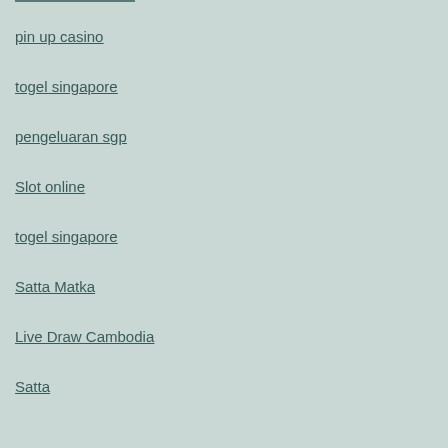pin up casino
togel singapore
pengeluaran sgp
Slot online
togel singapore
Satta Matka
Live Draw Cambodia
Satta